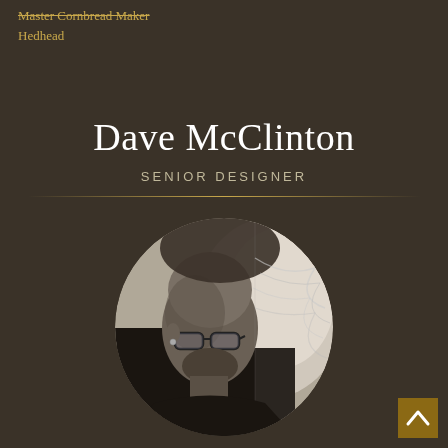Master Cornbread Maker
Hedhead
Dave McClinton
SENIOR DESIGNER
[Figure (photo): Circular black-and-white portrait photo of Dave McClinton, a bald man wearing glasses, shown in profile/three-quarter view against a blurred circular background]
[Figure (other): Small brown square button with an upward-pointing chevron/caret arrow icon in the bottom-right corner]